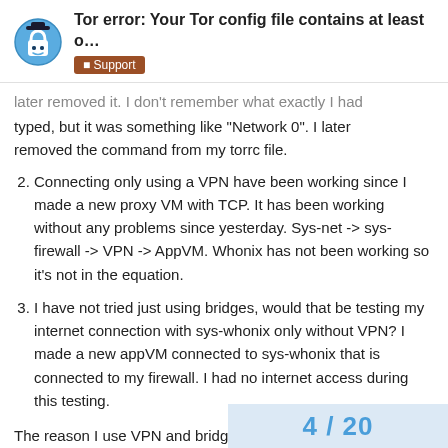Tor error: Your Tor config file contains at least o... | Support
later removed it. I don't remember what exactly I had typed, but it was something like "Network 0". I later removed the command from my torrc file.
2. Connecting only using a VPN have been working since I made a new proxy VM with TCP. It has been working without any problems since yesterday. Sys-net -> sys-firewall -> VPN -> AppVM. Whonix has not been working so it's not in the equation.
3. I have not tried just using bridges, would that be testing my internet connection with sys-whonix only without VPN? I made a new appVM connected to sys-whonix that is connected to my firewall. I had no internet access during this testing.
The reason I use VPN and bridges is because I want the bridge to hide the fact that I am using tor.
4 / 20